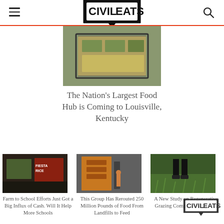Civil Eats
[Figure (photo): Aerial/overhead illustration of a large food hub building layout]
The Nation's Largest Food Hub is Coming to Louisville, Kentucky
[Figure (photo): Farm to school food display with Fiesta Rice sign visible]
Farm to School Efforts Just Got a Big Influx of Cash. Will It Help More Schools
[Figure (photo): Worker with forklift moving boxes of food in a warehouse]
This Group Has Rerouted 250 Million Pounds of Food From Landfills to Feed
[Figure (photo): Person standing on green grass field, legs visible]
A New Study on Regenerative Grazing Complicates Climate